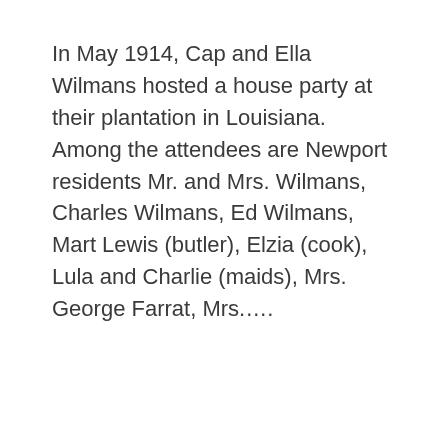In May 1914, Cap and Ella Wilmans hosted a house party at their plantation in Louisiana.  Among the attendees are Newport residents Mr. and Mrs. Wilmans, Charles Wilmans, Ed Wilmans, Mart Lewis (butler), Elzia (cook), Lula and Charlie (maids), Mrs. George Farrat, Mrs.….